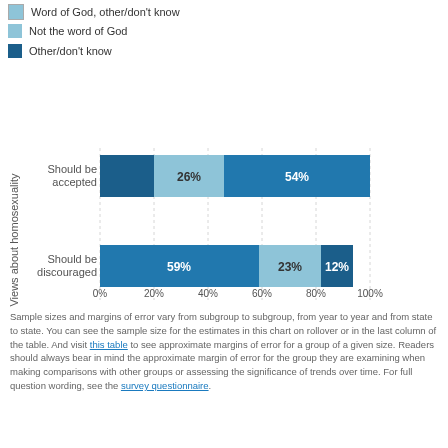Word of God, other/don't know
Not the word of God
Other/don't know
[Figure (stacked-bar-chart): ]
Sample sizes and margins of error vary from subgroup to subgroup, from year to year and from state to state. You can see the sample size for the estimates in this chart on rollover or in the last column of the table. And visit this table to see approximate margins of error for a group of a given size. Readers should always bear in mind the approximate margin of error for the group they are examining when making comparisons with other groups or assessing the significance of trends over time. For full question wording, see the survey questionnaire.